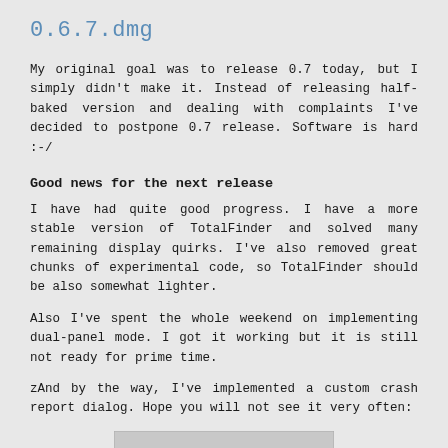0.6.7.dmg
My original goal was to release 0.7 today, but I simply didn't make it. Instead of releasing half-baked version and dealing with complaints I've decided to postpone 0.7 release. Software is hard :‑/
Good news for the next release
I have had quite good progress. I have a more stable version of TotalFinder and solved many remaining display quirks. I've also removed great chunks of experimental code, so TotalFinder should be also somewhat lighter.
Also I've spent the whole weekend on implementing dual-panel mode. I got it working but it is still not ready for prime time.
zAnd by the way, I've implemented a custom crash report dialog. Hope you will not see it very often:
[Figure (screenshot): Bottom portion of a dialog box with a warning/caution icon visible]